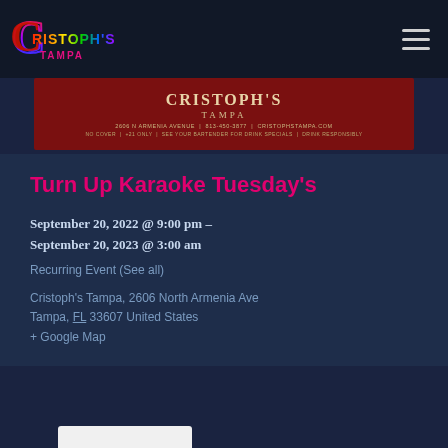Cristoph's Tampa
[Figure (photo): Cristoph's Tampa bar banner image showing the venue name, address 2606 N Armenia Avenue, phone 813-450-3877, website cristophstampa.com, No Cover, +21 Only, See Your Bartender For Drink Specials, Drink Responsibly]
Turn Up Karaoke Tuesday's
September 20, 2022 @ 9:00 pm - September 20, 2023 @ 3:00 am
Recurring Event (See all)
Cristoph's Tampa, 2606 North Armenia Ave Tampa, FL 33607 United States + Google Map